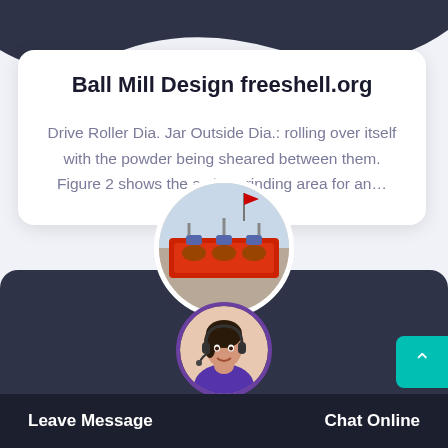[Figure (illustration): Dark navy decorative wave shape in top-left corner of page background]
Ball Mill Design freeshell.org
Drive Roller Dia. Jar Outside Dia.: rolling over itself with the powder being sheared between them. Figure 2 shows the active grinding area for an…
[Figure (photo): Circular photo of red industrial ball mill machinery equipment]
[Figure (photo): Circular photo of a customer service agent wearing a headset]
Leave Message   Chat Online